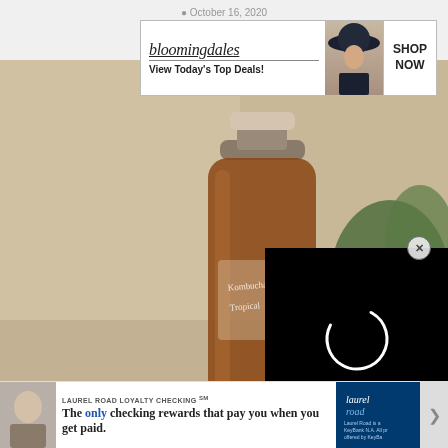● October 16, 2020
[Figure (screenshot): Bloomingdales advertisement banner: logo with italic underlined text, tagline 'View Today's Top Deals!', model with hat, and SHOP NOW button]
[Figure (photo): Photo of a glass bottle of Kombucha Tropical drink on a blurred cafe background with a plant in the corner]
[Figure (screenshot): Black video player overlay with white loading spinner arc, and close X button]
Pros and Cons o
● November 15, 2018
[Figure (screenshot): CLOSE button overlay and partial second article image visible below]
[Figure (screenshot): Bottom advertisement: Laurel Road Loyalty Checking. 'The only checking rewards that pay you when you get paid.' with Laurel Road logo]